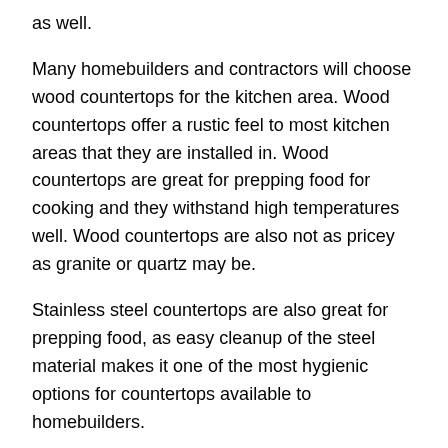as well.
Many homebuilders and contractors will choose wood countertops for the kitchen area. Wood countertops offer a rustic feel to most kitchen areas that they are installed in. Wood countertops are great for prepping food for cooking and they withstand high temperatures well. Wood countertops are also not as pricey as granite or quartz may be.
Stainless steel countertops are also great for prepping food, as easy cleanup of the steel material makes it one of the most hygienic options for countertops available to homebuilders.
Glass countertops are a fairly newer trend in kitchen countertops, but homeowners are choosing them for good reason. They are stain resistant and extremely easy to care for, and since they come in many different design options, they can fit into any design plan.